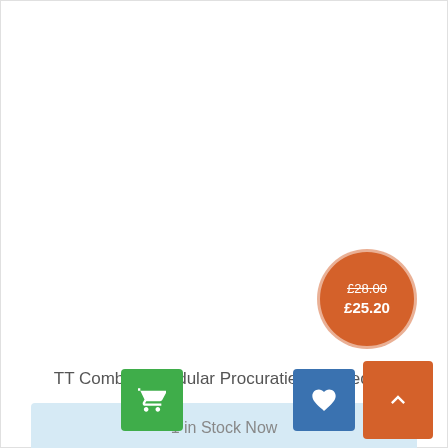[Figure (other): Price badge circle with original price £28.00 struck through and sale price £25.20 in white text on orange circle]
TT Combat - Modular Procuratie Cafe Teodor
1 in Stock Now
[Figure (other): Green shopping cart button icon]
[Figure (other): Blue heart/wishlist button icon]
[Figure (other): Orange up arrow button icon]